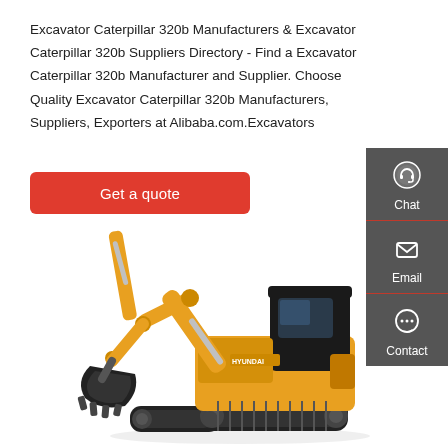Excavator Caterpillar 320b Manufacturers & Excavator Caterpillar 320b Suppliers Directory - Find a Excavator Caterpillar 320b Manufacturer and Supplier. Choose Quality Excavator Caterpillar 320b Manufacturers, Suppliers, Exporters at Alibaba.com.Excavators
Get a quote
[Figure (infographic): Sidebar with Chat, Email, Contact icons on dark grey background]
[Figure (photo): Orange and black Hyundai excavator on white background]